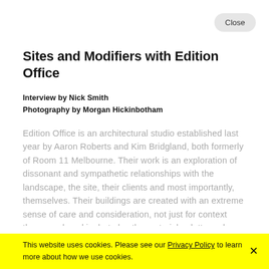Close
Sites and Modifiers with Edition Office
Interview by Nick Smith
Photography by Morgan Hickinbotham
Edition Office is an architectural studio established last year by Aaron Roberts and Kim Bridgland, both formerly of Room 11 Melbourne. Their work is an exploration of dissonant and sympathetic relationships with the landscape, the site, their clients and most importantly, themselves. Their buildings are created with an extreme sense of care and consideration, not just for context they are placed in, but also the material palette and relationship with the occupier. The results speak for themselves.
The unexpectedly laid back pair of architects greet me
This website uses cookies. Please see our Privacy Policy to learn more about how we use cookies.